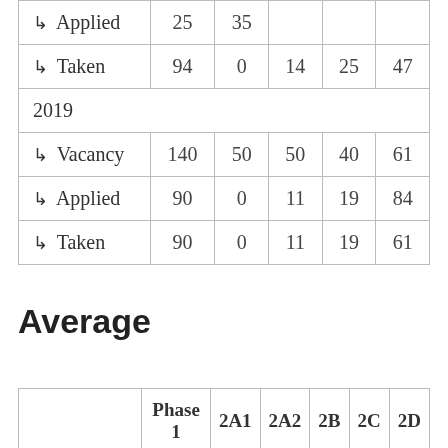|  | Phase 1 | 2A1 | 2A2 | 2B | 2C |
| --- | --- | --- | --- | --- | --- |
| ↳ Applied | 25 | 35 |  |  |  |
| ↳ Taken | 94 | 0 | 14 | 25 | 47 |
| 2019 |  |  |  |  |  |
| ↳ Vacancy | 140 | 50 | 50 | 40 | 61 |
| ↳ Applied | 90 | 0 | 11 | 19 | 84 |
| ↳ Taken | 90 | 0 | 11 | 19 | 61 |
Average
|  | Phase 1 | 2A1 | 2A2 | 2B | 2C | 2D |
| --- | --- | --- | --- | --- | --- | --- |